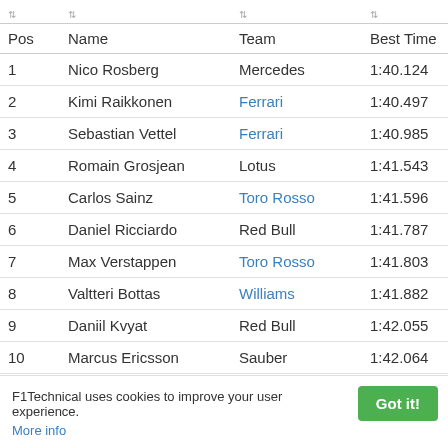| Pos | Name | Team | Best Time | Laps |
| --- | --- | --- | --- | --- |
| 1 | Nico Rosberg | Mercedes | 1:40.124 | 20 |
| 2 | Kimi Raikkonen | Ferrari | 1:40.497 | 17 |
| 3 | Sebastian Vettel | Ferrari | 1:40.985 | 13 |
| 4 | Romain Grosjean | Lotus | 1:41.543 | 14 |
| 5 | Carlos Sainz | Toro Rosso | 1:41.596 | 26 |
| 6 | Daniel Ricciardo | Red Bull | 1:41.787 | 15 |
| 7 | Max Verstappen | Toro Rosso | 1:41.803 | 23 |
| 8 | Valtteri Bottas | Williams | 1:41.882 | 23 |
| 9 | Daniil Kvyat | Red Bull | 1:42.055 | 18 |
| 10 | Marcus Ericsson | Sauber | 1:42.064 | 16 |
| 11 | Felipe Massa | Williams | 1:42.103 | 23 |
| 12 | Pastor Maldonado | Lotus | 1:42.567 | 19 |
| 13 | Raffaele Marciello | Sauber | 1:42.621 | 13 |
| 14 | Fernando Alonso | McLaren | 1:43.885 | 20 |
F1Technical uses cookies to improve your user experience. More info